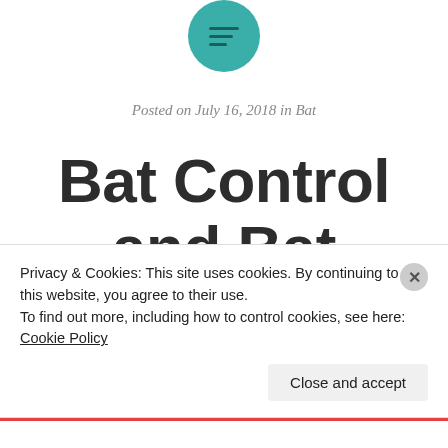[Figure (logo): Teal/turquoise circle with horizontal lines icon (menu/hamburger style)]
Posted on July 16, 2018 in Bat
Bat Control and Bat Removal in
Privacy & Cookies: This site uses cookies. By continuing to use this website, you agree to their use.
To find out more, including how to control cookies, see here: Cookie Policy
Close and accept